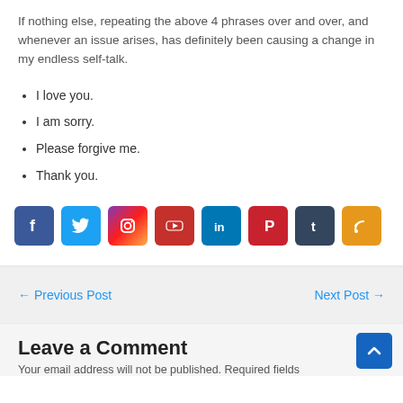If nothing else, repeating the above 4 phrases over and over, and whenever an issue arises, has definitely been causing a change in my endless self-talk.
I love you.
I am sorry.
Please forgive me.
Thank you.
[Figure (infographic): Row of 8 social media icon buttons: Facebook, Twitter, Instagram, YouTube, LinkedIn, Pinterest, Tumblr, RSS Feed]
← Previous Post
Next Post →
Leave a Comment
Your email address will not be published. Required fields